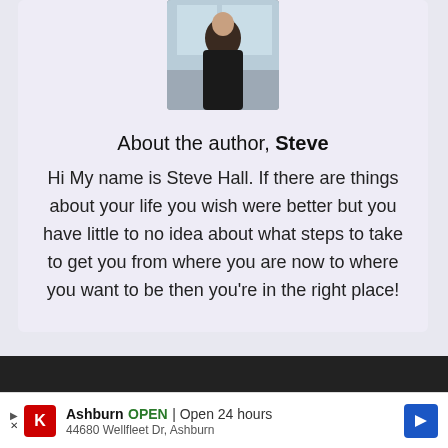[Figure (photo): Author photo of Steve Hall, a man sitting indoors near a window]
About the author, Steve
Hi My name is Steve Hall. If there are things about your life you wish were better but you have little to no idea about what steps to take to get you from where you are now to where you want to be then you're in the right place!
Ashburn OPEN | Open 24 hours 44680 Wellfleet Dr, Ashburn